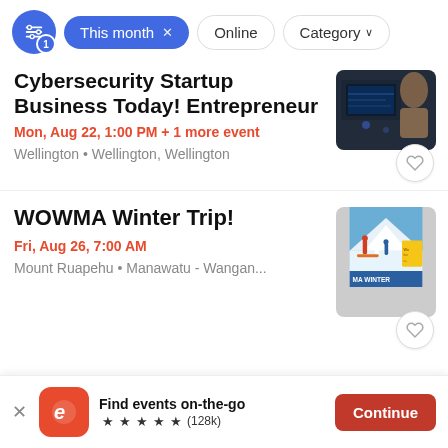This month × | Online | Category
Cybersecurity Startup Business Today! Entrepreneur
Mon, Aug 22, 1:00 PM + 1 more event
Wellington • Wellington, Wellington
WOWMA Winter Trip!
Fri, Aug 26, 7:00 AM
Mount Ruapehu • Manawatu - Wangan...
Find events on-the-go ★★★★★ (128k)